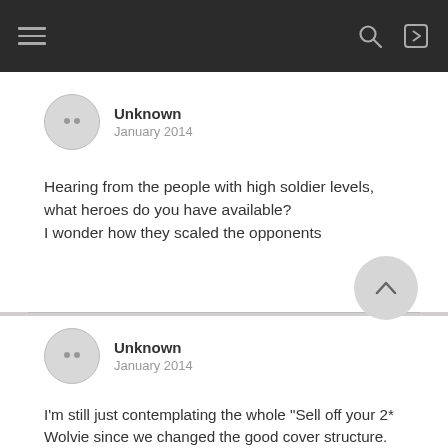Navigation bar with hamburger menu, search icon, and login icon
Unknown
January 2014
Hearing from the people with high soldier levels, what heroes do you have available?
I wonder how they scaled the opponents
Unknown
January 2014
I'm still just contemplating the whole "Sell off your 2* Wolvie since we changed the good cover structure. Don't worry, you'll get more covers and build another later, and since he's nerfed, you won't use him much anyway. Here, we'll give you 20k iso and 350 HP for